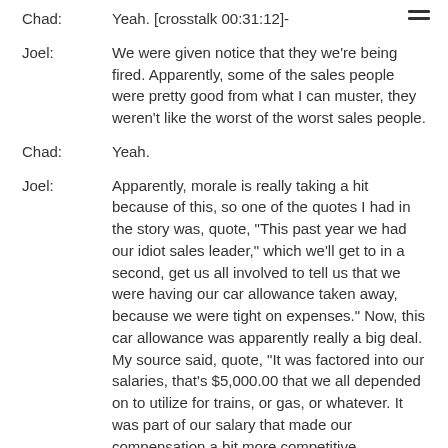Chad: Yeah. [crosstalk 00:31:12]-
Joel: We were given notice that they we're being fired. Apparently, some of the sales people were pretty good from what I can muster, they weren't like the worst of the worst sales people.
Chad: Yeah.
Joel: Apparently, morale is really taking a hit because of this, so one of the quotes I had in the story was, quote, "This past year we had our idiot sales leader," which we'll get to in a second, get us all involved to tell us that we were having our car allowance taken away, because we were tight on expenses." Now, this car allowance was apparently really a big deal. My source said, quote, "It was factored into our salaries, that's $5,000.00 that we all depended on to utilize for trains, or gas, or whatever. It was part of our salary that made our compensation a bit more competitive